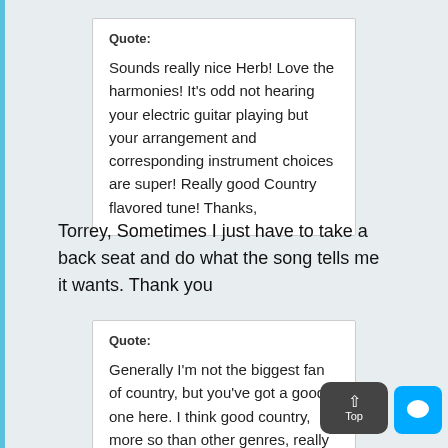Quote: Sounds really nice Herb! Love the harmonies! It's odd not hearing your electric guitar playing but your arrangement and corresponding instrument choices are super! Really good Country flavored tune! Thanks,
Torrey, Sometimes I just have to take a back seat and do what the song tells me it wants. Thank you
Quote: Generally I'm not the biggest fan of country, but you've got a good one here. I think good country, more so than other genres, really turns on the quality of the lyric—and this is a stellar write. Bolstered by great production, it delivers the good in spades. Great choice to feature the steel guitar—it's the star